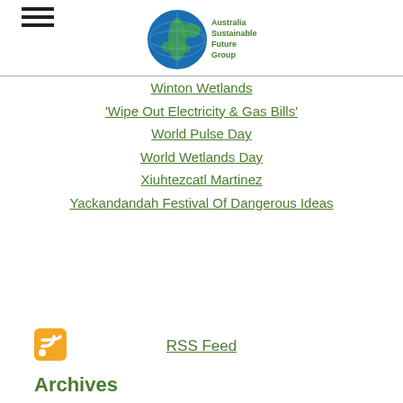[Figure (logo): Australia Sustainable Future Group logo with globe icon and text]
Winton Wetlands
'Wipe Out Electricity & Gas Bills'
World Pulse Day
World Wetlands Day
Xiuhtezcatl Martinez
Yackandandah Festival Of Dangerous Ideas
RSS Feed
Archives
August 2022
July 2022
June 2022
May 2022
April 2022
March 2022
February 2022
January 2022
December 2021
November 2021
October 2021